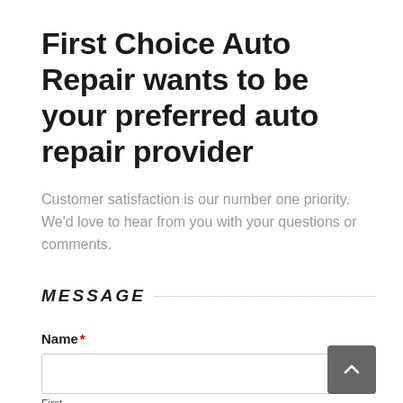First Choice Auto Repair wants to be your preferred auto repair provider
Customer satisfaction is our number one priority. We'd love to hear from you with your questions or comments.
MESSAGE
Name *
First